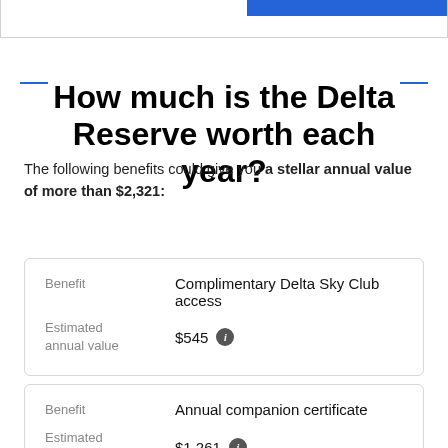How much is the Delta Reserve worth each year?
The following benefits could give you a stellar annual value of more than $2,321:
| Benefit | Complimentary Delta Sky Club access | Estimated annual value | $545 |
| --- | --- | --- | --- |
| Benefit | Annual companion certificate | Estimated annual value | $1,261 |
| --- | --- | --- | --- |